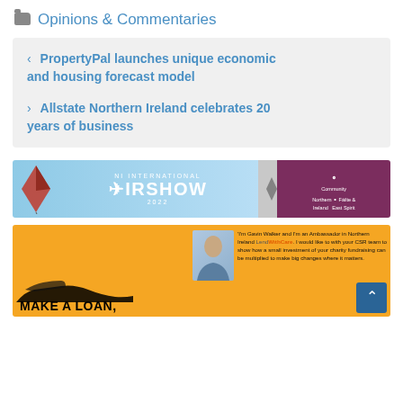Opinions & Commentaries
PropertyPal launches unique economic and housing forecast model
Allstate Northern Ireland celebrates 20 years of business
[Figure (photo): NI International Airshow 2022 banner advertisement with blue sky background, a kite/plane graphic, sponsor logos]
[Figure (photo): LendWithCare advertisement on orange background showing a hand silhouette, 'MAKE A LOAN,' headline, a photo of Gavin Walker and a quote about being an Ambassador in Northern Ireland]